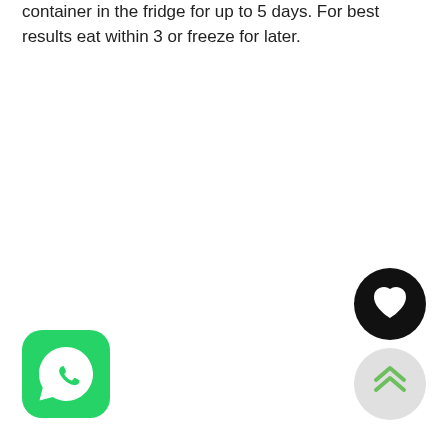container in the fridge for up to 5 days. For best results eat within 3 or freeze for later.
[Figure (logo): WhatsApp app icon — green rounded square with white phone handset inside speech bubble]
[Figure (other): Black circular button with white heart icon (favorite/like button)]
[Figure (other): Light gray circular button with green double chevron up arrow (scroll to top button)]